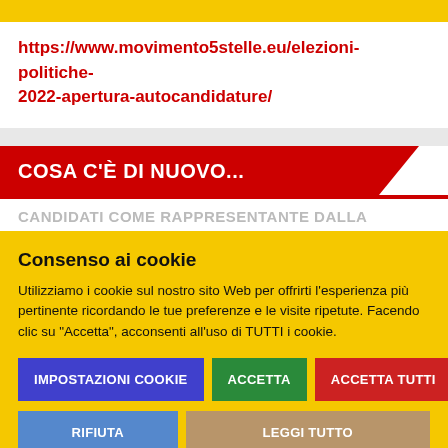https://www.movimento5stelle.eu/elezioni-politiche-2022-apertura-autocandidature/
COSA C'È DI NUOVO...
Consenso ai cookie
Utilizziamo i cookie sul nostro sito Web per offrirti l'esperienza più pertinente ricordando le tue preferenze e le visite ripetute. Facendo clic su "Accetta", acconsenti all'uso di TUTTI i cookie.
IMPOSTAZIONI Cookie | ACCETTA | ACCETTA TUTTI | RIFIUTA | LEGGI TUTTO